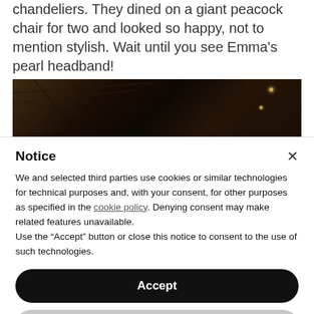chandeliers. They dined on a giant peacock chair for two and looked so happy, not to mention stylish. Wait until you see Emma's pearl headband!
[Figure (photo): Dark interior photo showing wooden structural elements or chandeliers with small glowing light details, very dark brown and black tones]
Notice
We and selected third parties use cookies or similar technologies for technical purposes and, with your consent, for other purposes as specified in the cookie policy. Denying consent may make related features unavailable.
Use the “Accept” button or close this notice to consent to the use of such technologies.
Accept
Learn more and customize